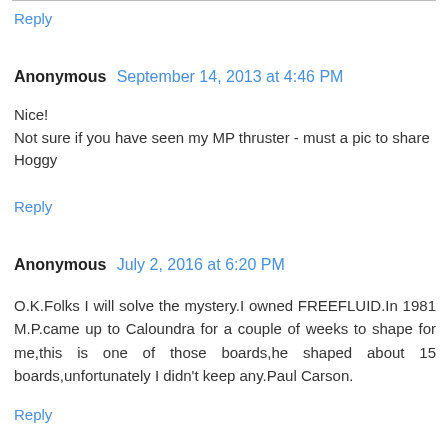Reply
Anonymous  September 14, 2013 at 4:46 PM
Nice!
Not sure if you have seen my MP thruster - must a pic to share
Hoggy
Reply
Anonymous  July 2, 2016 at 6:20 PM
O.K.Folks I will solve the mystery.I owned FREEFLUID.In 1981 M.P.came up to Caloundra for a couple of weeks to shape for me,this is one of those boards,he shaped about 15 boards,unfortunately I didn't keep any.Paul Carson.
Reply